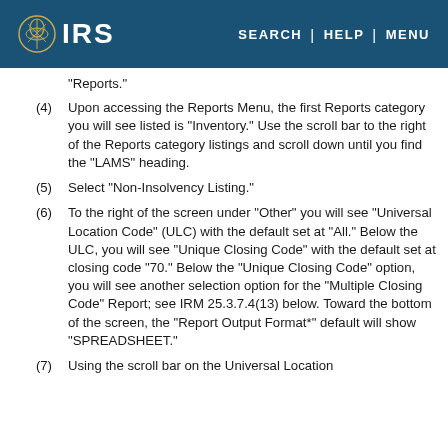IRS | SEARCH | HELP | MENU
"Reports."
(4) Upon accessing the Reports Menu, the first Reports category you will see listed is "Inventory." Use the scroll bar to the right of the Reports category listings and scroll down until you find the "LAMS" heading.
(5) Select "Non-Insolvency Listing."
(6) To the right of the screen under "Other" you will see "Universal Location Code" (ULC) with the default set at "All." Below the ULC, you will see "Unique Closing Code" with the default set at closing code "70." Below the "Unique Closing Code" option, you will see another selection option for the "Multiple Closing Code" Report; see IRM 25.3.7.4(13) below. Toward the bottom of the screen, the "Report Output Format*" default will show "SPREADSHEET."
(7) Using the scroll bar on the Universal Location